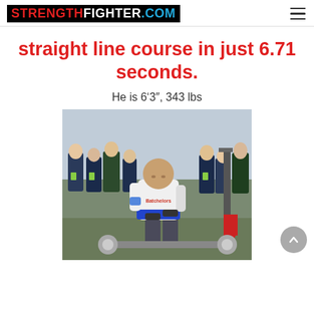STRENGTHFIGHTER.COM
straight line course in just 6.71 seconds.
He is 6‘3″, 343 lbs
[Figure (photo): A large strongman athlete wearing a white t-shirt with 'Batchelors' logo and a blue weightlifting belt, competing in a strongman event pulling or pushing equipment on a grass field. A crowd of spectators in dark jackets stand in the background.]